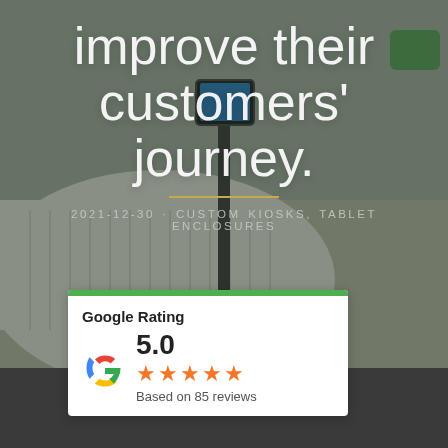[Figure (photo): Background photo of a retail store interior with a checkout counter, tablet kiosk stand on the floor, and green shopping basket in background. Dark overlay applied.]
improve their customers' journey.
2021-12-30 · CUSTOM KIOSKS, TABLET ENCLOSURES
[Figure (infographic): Google Rating card widget showing 5.0 rating with 5 orange stars and 'Based on 85 reviews' text, with green top bar and Google G logo.]
Google Rating
5.0
Based on 85 reviews